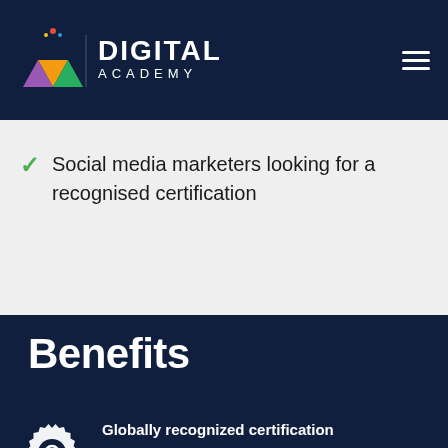Digital Academy
Social media marketers looking for a recognised certification
Benefits
Globally recognized certification
Receive a globally recongnised certificate